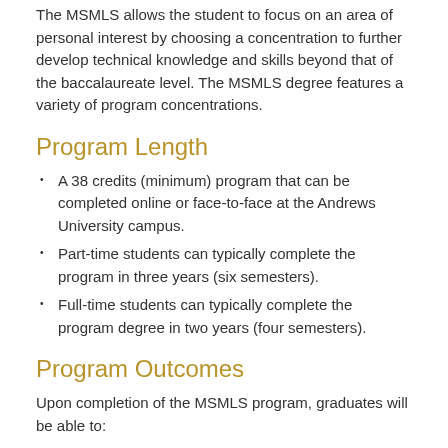The MSMLS allows the student to focus on an area of personal interest by choosing a concentration to further develop technical knowledge and skills beyond that of the baccalaureate level. The MSMLS degree features a variety of program concentrations.
Program Length
A 38 credits (minimum) program that can be completed online or face-to-face at the Andrews University campus.
Part-time students can typically complete the program in three years (six semesters).
Full-time students can typically complete the program degree in two years (four semesters).
Program Outcomes
Upon completion of the MSMLS program, graduates will be able to: